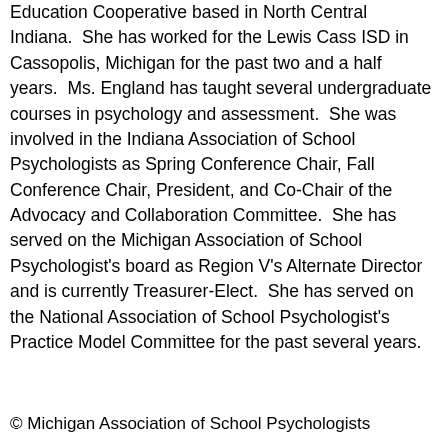Education Cooperative based in North Central Indiana. She has worked for the Lewis Cass ISD in Cassopolis, Michigan for the past two and a half years. Ms. England has taught several undergraduate courses in psychology and assessment. She was involved in the Indiana Association of School Psychologists as Spring Conference Chair, Fall Conference Chair, President, and Co-Chair of the Advocacy and Collaboration Committee. She has served on the Michigan Association of School Psychologist's board as Region V's Alternate Director and is currently Treasurer-Elect. She has served on the National Association of School Psychologist's Practice Model Committee for the past several years.
© Michigan Association of School Psychologists